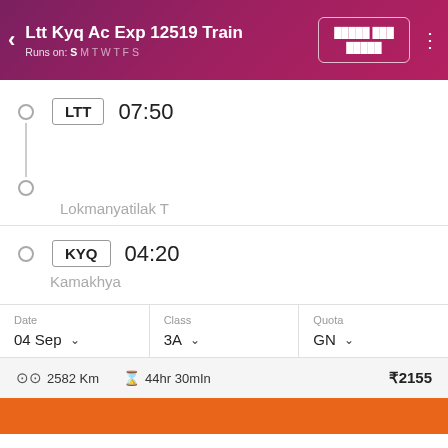Ltt Kyq Ac Exp 12519 Train
Runs on: S M T W T F S
LTT  07:50
Lokmanyatilak T
KYQ  04:20
Kamakhya
| Date | Class | Quota |
| --- | --- | --- |
| 04 Sep ˅ | 3A ˅ | GN ˅ |
2582 Km   44hr 30mIn   ₹2155